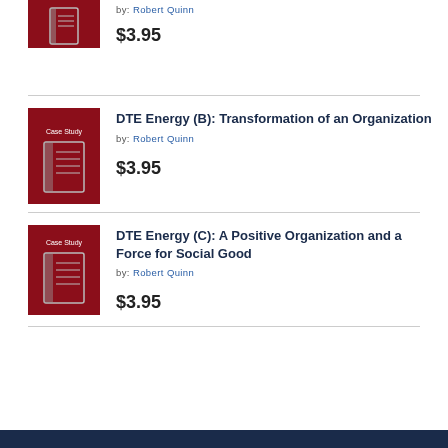[Figure (illustration): Case Study thumbnail with dark red background and book icon (partial, top of page)]
by: Robert Quinn
$3.95
[Figure (illustration): Case Study thumbnail with dark red background and book icon]
DTE Energy (B): Transformation of an Organization
by: Robert Quinn
$3.95
[Figure (illustration): Case Study thumbnail with dark red background and book icon]
DTE Energy (C): A Positive Organization and a Force for Social Good
by: Robert Quinn
$3.95